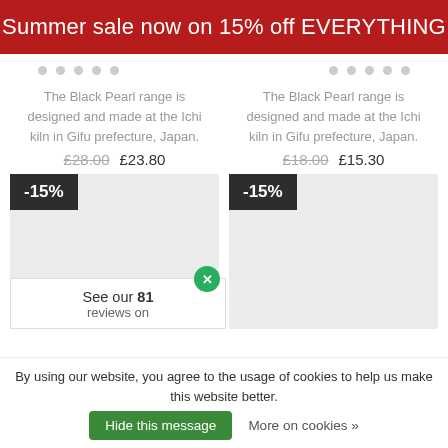Summer sale now on 15% off EVERYTHING
The Black Pearl range is designed and made at the Ichi kiln in Gifu prefecture, Japan.
£28.00  £23.80
[Figure (other): Product image placeholder with -15% discount badge]
The Black Pearl range is designed and made at the Ichi kiln in Gifu prefecture, Japan.
£18.00  £15.30
[Figure (other): Product image placeholder with -15% discount badge]
See our 81 reviews on
By using our website, you agree to the usage of cookies to help us make this website better.